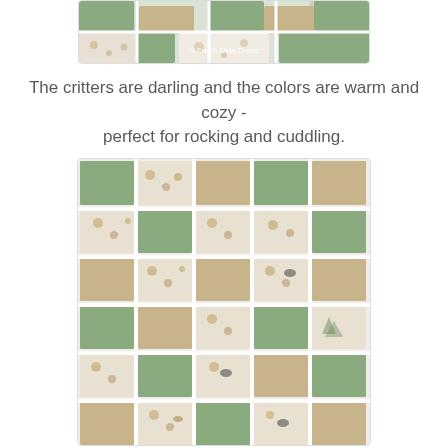[Figure (photo): Partial top view of a quilt with woodland critter fabric and sage green, tan, and white patches. Watermark reads '© Fresh Dew Drops']
The critters are darling and the colors are warm and cozy - perfect for rocking and cuddling.
[Figure (photo): Close-up top-down view of a patchwork quilt with repeating squares in sage green, tan/beige, and white/cream with woodland animal (critters, skunk, squirrel) print fabric arranged in a grid pattern.]